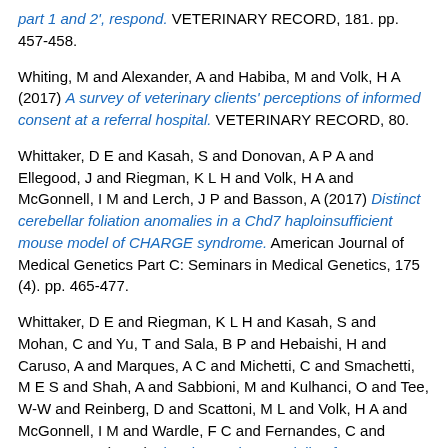part 1 and 2', respond. VETERINARY RECORD, 181. pp. 457-458.
Whiting, M and Alexander, A and Habiba, M and Volk, H A (2017) A survey of veterinary clients' perceptions of informed consent at a referral hospital. VETERINARY RECORD, 80.
Whittaker, D E and Kasah, S and Donovan, A P A and Ellegood, J and Riegman, K L H and Volk, H A and McGonnell, I M and Lerch, J P and Basson, A (2017) Distinct cerebellar foliation anomalies in a Chd7 haploinsufficient mouse model of CHARGE syndrome. American Journal of Medical Genetics Part C: Seminars in Medical Genetics, 175 (4). pp. 465-477.
Whittaker, D E and Riegman, K L H and Kasah, S and Mohan, C and Yu, T and Sala, B P and Hebaishi, H and Caruso, A and Marques, A C and Michetti, C and Smachetti, M E S and Shah, A and Sabbioni, M and Kulhanci, O and Tee, W-W and Reinberg, D and Scattoni, M L and Volk, H A and McGonnell, I M and Wardle, F C and Fernandes, C and Basson, M A (2017) The chromatin remodeling factor CHD7 controls cerebellar development by regulating reelin expression. Journal of Clinical Investigation, 127 (3). pp. 874-887.
Wiens, O and Yin, P and Van Schubert, C and Westling, J M and...